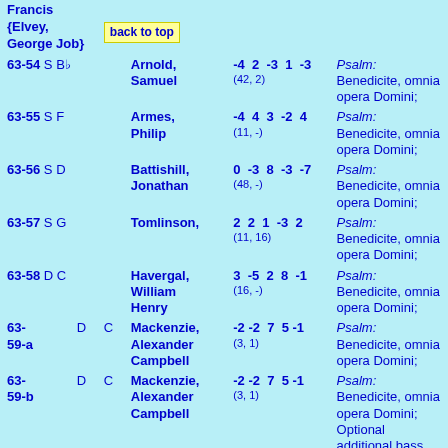Francis {Elvey, George Job}
back to top
63-54 S Bb Arnold, Samuel -4 2 -3 1 -3 (42, 2) Psalm: Benedicite, omnia opera Domini;
63-55 S F Armes, Philip -4 4 3 -2 4 (11, -) Psalm: Benedicite, omnia opera Domini;
63-56 S D Battishill, Jonathan 0 -3 8 -3 -7 (48, -) Psalm: Benedicite, omnia opera Domini;
63-57 S G Tomlinson, 2 2 1 -3 2 (11, 16) Psalm: Benedicite, omnia opera Domini;
63-58 D C Havergal, William Henry 3 -5 2 8 -1 (16, -) Psalm: Benedicite, omnia opera Domini;
63-59-a D C Mackenzie, Alexander Campbell -2 -2 7 5 -1 (3, 1) Psalm: Benedicite, omnia opera Domini;
63-59-b D C Mackenzie, Alexander Campbell -2 -2 7 5 -1 (3, 1) Psalm: Benedicite, omnia opera Domini; Optional additional bass note (G) in final bar
63-60 D F Hayes, William 0 -2 -2 5 0 (42, 5) Psalm: Benedicite, omnia opera Domini;
back to top
Stubbs, George Edward 2 -7 9 0 3 (1, 1) Psalm: Benedicite, omnia opera Domini;